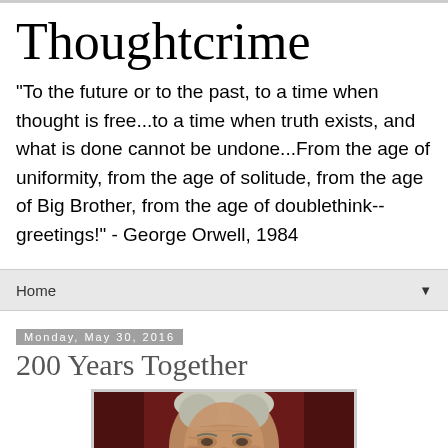Thoughtcrime
"To the future or to the past, to a time when thought is free...to a time when truth exists, and what is done cannot be undone...From the age of uniformity, from the age of solitude, from the age of Big Brother, from the age of doublethink--greetings!" - George Orwell, 1984
Home
Monday, May 30, 2016
200 Years Together
[Figure (photo): Portrait photo of an elderly man with white/gray hair against a dark reddish-brown background]